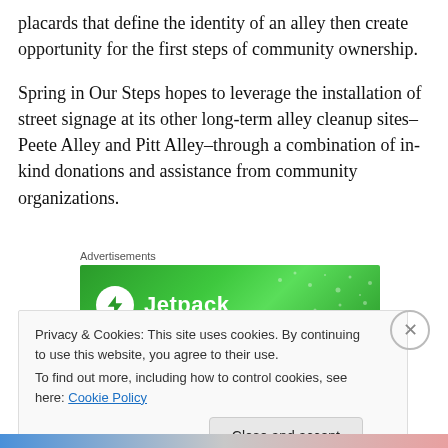placards that define the identity of an alley then create opportunity for the first steps of community ownership.
Spring in Our Steps hopes to leverage the installation of street signage at its other long-term alley cleanup sites–Peete Alley and Pitt Alley–through a combination of in-kind donations and assistance from community organizations.
Advertisements
[Figure (other): Jetpack advertisement banner with green gradient background showing Jetpack logo (lightning bolt in white circle) and Jetpack text in white]
Privacy & Cookies: This site uses cookies. By continuing to use this website, you agree to their use.
To find out more, including how to control cookies, see here: Cookie Policy